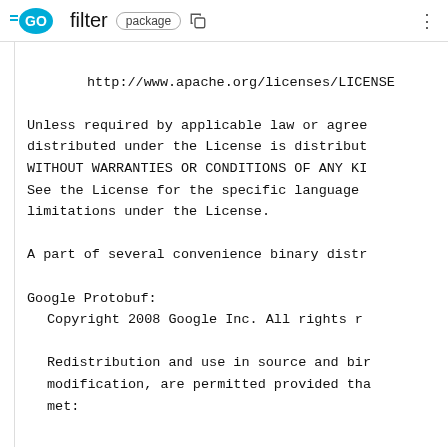GO filter  package
http://www.apache.org/licenses/LICENSE

Unless required by applicable law or agreed distributed under the License is distribut WITHOUT WARRANTIES OR CONDITIONS OF ANY KI See the License for the specific language limitations under the License.

A part of several convenience binary distr

Google Protobuf:
  Copyright 2008 Google Inc.  All rights r

  Redistribution and use in source and bir modification, are permitted provided tha met: